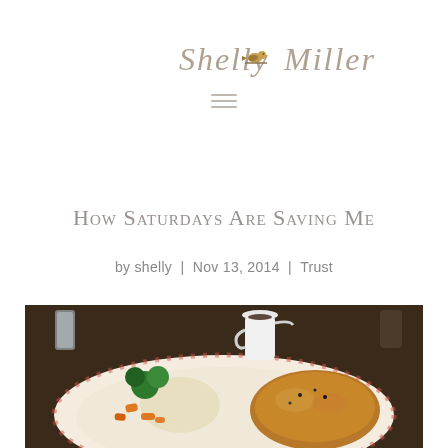Shelly Miller
How Saturdays Are Saving Me
by shelly | Nov 13, 2014 | Trust
[Figure (photo): A plate of food with broccoli, carrots, mashed potatoes, cauliflower, and roasted chicken or meat pie with gravy, served on a white plate with red floral pattern. A white gravy pitcher and glasses are visible in the background.]